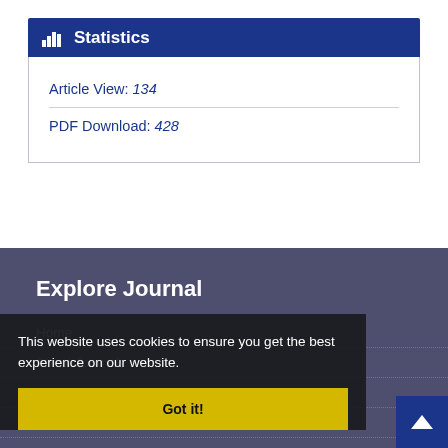Statistics
Article View: 134
PDF Download: 428
Explore Journal
Home
About Journal
Editorial Board
Submit Manuscript
Contact Us
Glossary
This website uses cookies to ensure you get the best experience on our website.
Got it!